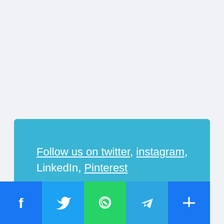Follow us on twitter, instagram, LinkedIn, Pinterest